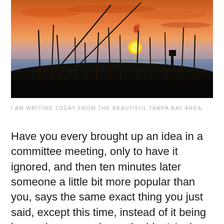[Figure (photo): Sunset over the beach with sea oats silhouetted in the foreground, orange and red sky reflecting on the ocean water near Tampa Bay area.]
I AM WRITING TODAY FROM THE BEAUTIFUL TAMPA BAY AREA.
Have you every brought up an idea in a committee meeting, only to have it ignored, and then ten minutes later someone a little bit more popular than you, says the same exact thing you just said, except this time, instead of it being ignored everyone loves the idea! And you are sitting there thinking to